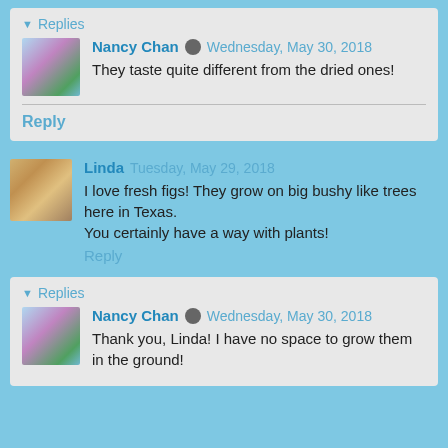Replies
Nancy Chan  Wednesday, May 30, 2018
They taste quite different from the dried ones!
Reply
Linda  Tuesday, May 29, 2018
I love fresh figs! They grow on big bushy like trees here in Texas.
You certainly have a way with plants!
Reply
Replies
Nancy Chan  Wednesday, May 30, 2018
Thank you, Linda! I have no space to grow them in the ground!